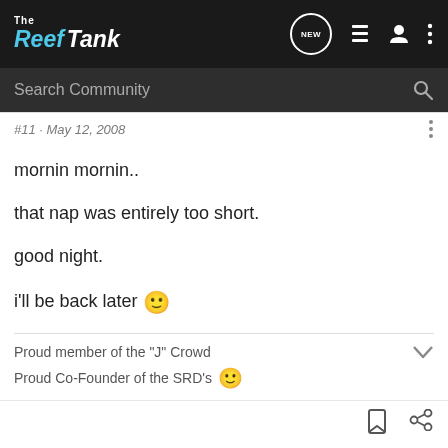[Figure (logo): The Reef Tank logo in top navigation bar]
Search Community
#11 · May 12, 2008
mornin mornin..
that nap was entirely too short.
good night.
i'll be back later 🙂
Proud member of the "J" Crowd
Proud Co-Founder of the SRD's 🙂